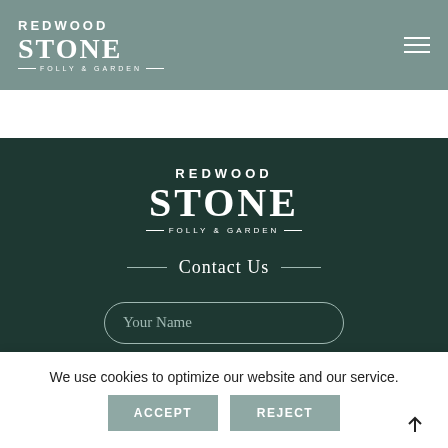REDWOOD STONE FOLLY & GARDEN
[Figure (logo): Redwood Stone Folly & Garden logo centered on dark green background with Contact Us heading and name input field]
Contact Us
Your Name
We use cookies to optimize our website and our service.